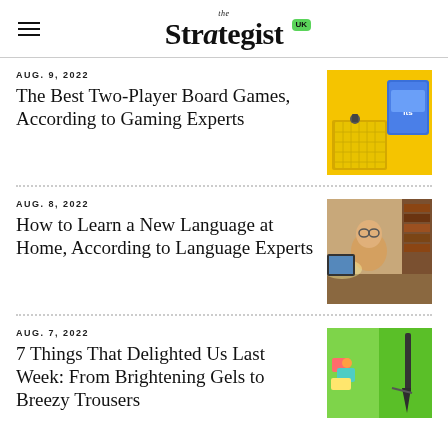the Strategist UK
AUG. 9, 2022
The Best Two-Player Board Games, According to Gaming Experts
[Figure (photo): Yellow background with board game pieces and a board game box]
AUG. 8, 2022
How to Learn a New Language at Home, According to Language Experts
[Figure (photo): Person sitting at desk with glasses, warm lighting, bookshelves in background]
AUG. 7, 2022
7 Things That Delighted Us Last Week: From Brightening Gels to Breezy Trousers
[Figure (photo): Green background with colorful items and a garden tool]